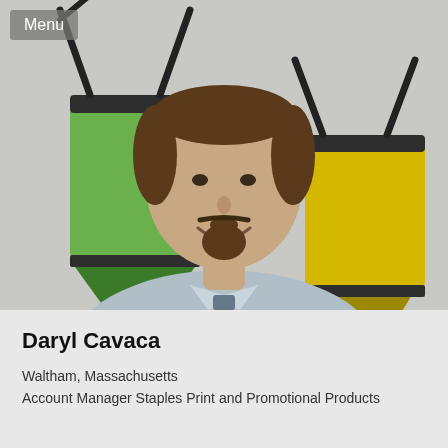[Figure (photo): Professional headshot of a man with a goatee, wearing a light blue dress shirt and patterned tie, smiling, with large binder clips in the background]
Menu
Daryl Cavaca
Waltham, Massachusetts
Account Manager Staples Print and Promotional Products